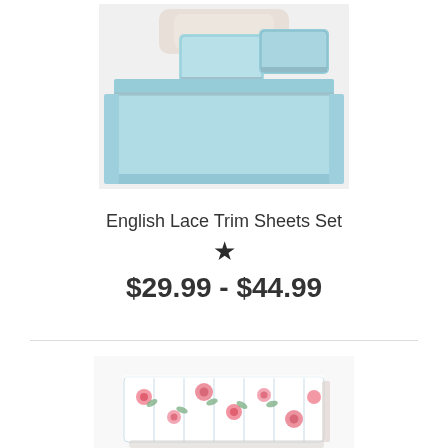[Figure (photo): Light blue bed sheets set with lace trim on a made bed, showing pillows and a folded sheet corner]
English Lace Trim Sheets Set
★
$29.99 - $44.99
[Figure (photo): Floral pink and white patterned sheet set folded into a flat package]